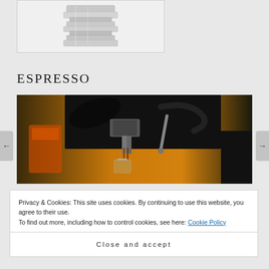[Figure (photo): Partial view of a stainless steel watch bracelet/band on a light grey background]
ESPRESSO
[Figure (photo): Close-up photo of an espresso machine brewing espresso, with black handles, metal parts, and warm amber/brown tones, glass cups visible below the spout]
Privacy & Cookies: This site uses cookies. By continuing to use this website, you agree to their use.
To find out more, including how to control cookies, see here: Cookie Policy
Close and accept